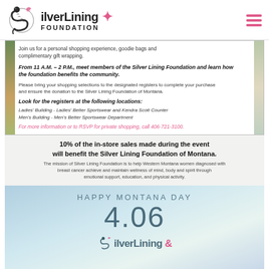[Figure (logo): Silver Lining Foundation logo with dragon S and pink ribbon, hamburger menu icon on right]
Join us for a personal shopping experience, goodie bags and complimentary gift wrapping.
From 11 A.M. – 2 P.M., meet members of the Silver Lining Foundation and learn how the foundation benefits the community.
Please bring your shopping selections to the designated registers to complete your purchase and ensure the donation to the Silver Lining Foundation of Montana.
Look for the registers at the following locations:
Ladies' Building - Ladies' Better Sportswear and Kendra Scott Counter
Men's Building - Men's Better Sportswear Department
For more information or to RSVP for private shopping, call 406-721-3100.
10% of the in-store sales made during the event will benefit the Silver Lining Foundation of Montana.
The mission of Silver Lining Foundation is to help Western Montana women diagnosed with breast cancer achieve and maintain wellness of mind, body and spirit through emotional support, education, and physical activity.
HAPPY MONTANA DAY
4.06
[Figure (logo): Silver Lining Foundation logo text partial view at bottom]